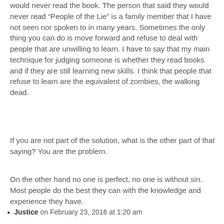would never read the book. The person that said they would never read "People of the Lie" is a family member that I have not seen nor spoken to in many years. Sometimes the only thing you can do is move forward and refuse to deal with people that are unwilling to learn. I have to say that my main technique for judging someone is whether they read books and if they are still learning new skills. I think that people that refuse to learn are the equivalent of zombies, the walking dead.
If you are not part of the solution, what is the other part of that saying? You are the problem.
On the other hand no one is perfect, no one is without sin. Most people do the best they can with the knowledge and experience they have.
Justice on February 23, 2016 at 1:20 am